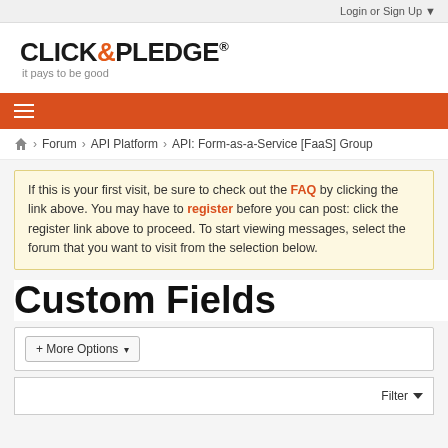Login or Sign Up ▼
[Figure (logo): Click & Pledge logo with tagline 'it pays to be good']
[Figure (other): Orange navigation bar with hamburger menu icon]
Home > Forum > API Platform > API: Form-as-a-Service [FaaS] Group
If this is your first visit, be sure to check out the FAQ by clicking the link above. You may have to register before you can post: click the register link above to proceed. To start viewing messages, select the forum that you want to visit from the selection below.
Custom Fields
+ More Options ▼
Filter ▼